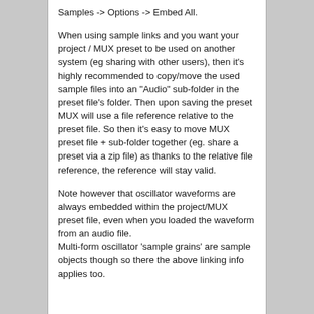Samples -> Options -> Embed All.
When using sample links and you want your project / MUX preset to be used on another system (eg sharing with other users), then it's highly recommended to copy/move the used sample files into an "Audio" sub-folder in the preset file's folder. Then upon saving the preset MUX will use a file reference relative to the preset file. So then it's easy to move MUX preset file + sub-folder together (eg. share a preset via a zip file) as thanks to the relative file reference, the reference will stay valid.
Note however that oscillator waveforms are always embedded within the project/MUX preset file, even when you loaded the waveform from an audio file.
Multi-form oscillator 'sample grains' are sample objects though so there the above linking info applies too.